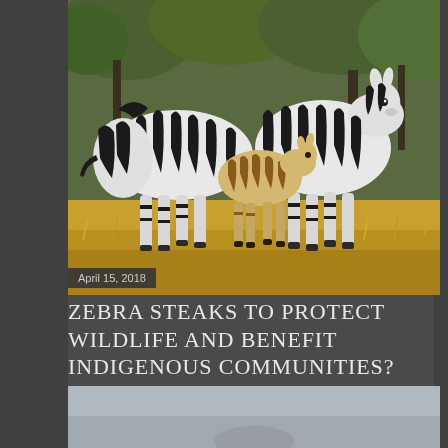[Figure (photo): Three zebras (two adults and one foal) standing in dry savanna grassland with green trees in the background. The zebras show bold black and white stripes. The foal stands between the two adults.]
April 15, 2018
ZEBRA STEAKS TO PROTECT WILDLIFE AND BENEFIT INDIGENOUS COMMUNITIES?
Share   Post a Comment
[Figure (photo): Bottom portion of a second photo, partially visible, showing a grey/misty outdoor scene.]